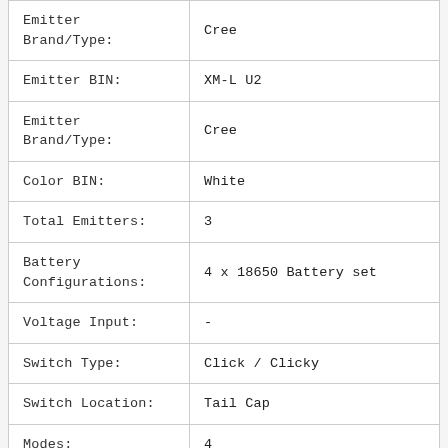| Property | Value |
| --- | --- |
| Emitter Brand/Type: | Cree |
| Emitter BIN: | XM-L U2 |
| Emitter Brand/Type: | Cree |
| Color BIN: | White |
| Total Emitters: | 3 |
| Battery Configurations: | 4 x 18650 Battery set |
| Voltage Input: | - |
| Switch Type: | Click / Clicky |
| Switch Location: | Tail Cap |
| Modes: | 4 |